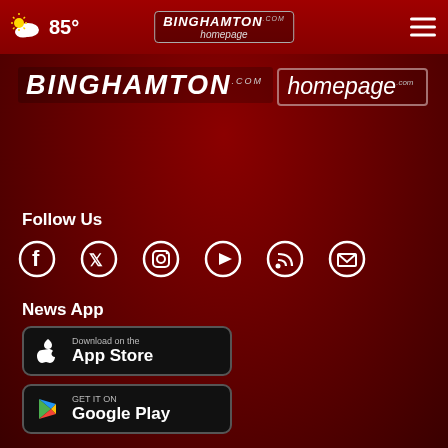85° — Binghamton Homepage navigation bar
[Figure (logo): Binghamton Homepage logo large — BINGHAMTON homepage.com]
Follow Us
[Figure (infographic): Social media icons: Facebook, Twitter, Instagram, YouTube, RSS, Email]
News App
[Figure (infographic): Download on the App Store button]
[Figure (infographic): GET IT ON Google Play button]